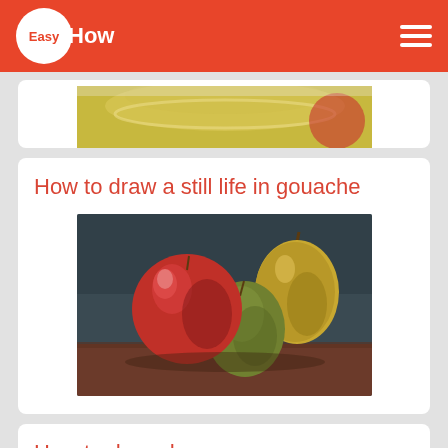EasyHow
[Figure (photo): Partial view of a still life painting showing yellow/green fruits on a light background, cropped at top]
How to draw a still life in gouache
[Figure (photo): Still life painting showing a red apple and two pears (one green, one yellow-brown) on a dark teal background on a wooden surface]
How to draw drapery
[Figure (photo): Pencil sketch or photo of white drapery/fabric folds, partially cropped at bottom of page]